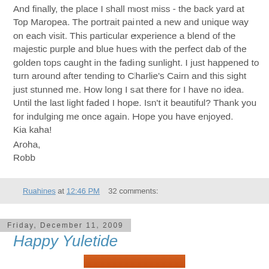And finally, the place I shall most miss - the back yard at Top Maropea. The portrait painted a new and unique way on each visit. This particular experience a blend of the majestic purple and blue hues with the perfect dab of the golden tops caught in the fading sunlight. I just happened to turn around after tending to Charlie's Cairn and this sight just stunned me. How long I sat there for I have no idea. Until the last light faded I hope. Isn't it beautiful? Thank you for indulging me once again. Hope you have enjoyed.
Kia kaha!
Aroha,
Robb
Ruahines at 12:46 PM   32 comments:
Friday, December 11, 2009
Happy Yuletide